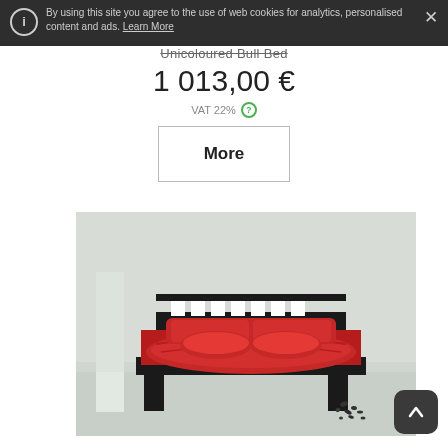By using this site you agree to the use of web cookies for analytics, personalised content and ads. Learn More
Unicoloured Bull Bed
1 013,00 €
VAT 22%
More
[Figure (photo): A low platform bed with dark wood frame and bright red bedding including pillows and duvet, set in a minimalist white room with light-coloured floor. Small dark pebbles scattered on the floor to the right.]